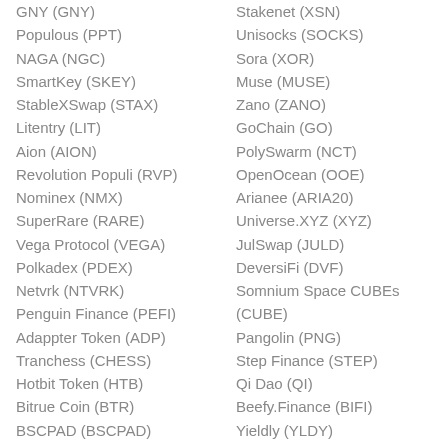GNY (GNY)
Populous (PPT)
NAGA (NGC)
SmartKey (SKEY)
StableXSwap (STAX)
Litentry (LIT)
Aion (AION)
Revolution Populi (RVP)
Nominex (NMX)
SuperRare (RARE)
Vega Protocol (VEGA)
Polkadex (PDEX)
Netvrk (NTVRK)
Penguin Finance (PEFI)
Adappter Token (ADP)
Tranchess (CHESS)
Hotbit Token (HTB)
Bitrue Coin (BTR)
BSCPAD (BSCPAD)
Stakenet (XSN)
Unisocks (SOCKS)
Sora (XOR)
Muse (MUSE)
Zano (ZANO)
GoChain (GO)
PolySwarm (NCT)
OpenOcean (OOE)
Arianee (ARIA20)
Universe.XYZ (XYZ)
JulSwap (JULD)
DeversiFi (DVF)
Somnium Space CUBEs (CUBE)
Pangolin (PNG)
Step Finance (STEP)
Qi Dao (QI)
Beefy.Finance (BIFI)
Yieldly (YLDY)